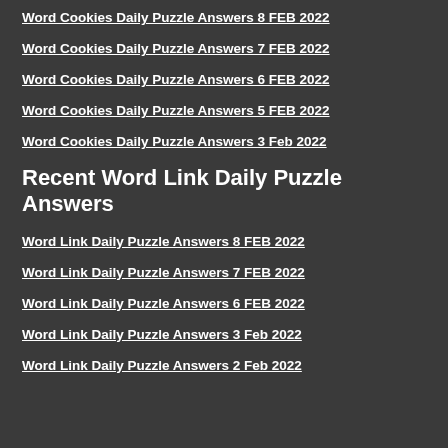Word Cookies Daily Puzzle Answers 8 FEB 2022
Word Cookies Daily Puzzle Answers 7 FEB 2022
Word Cookies Daily Puzzle Answers 6 FEB 2022
Word Cookies Daily Puzzle Answers 5 FEB 2022
Word Cookies Daily Puzzle Answers 3 Feb 2022
Recent Word Link Daily Puzzle Answers
Word Link Daily Puzzle Answers 8 FEB 2022
Word Link Daily Puzzle Answers 7 FEB 2022
Word Link Daily Puzzle Answers 6 FEB 2022
Word Link Daily Puzzle Answers 3 Feb 2022
Word Link Daily Puzzle Answers 2 Feb 2022